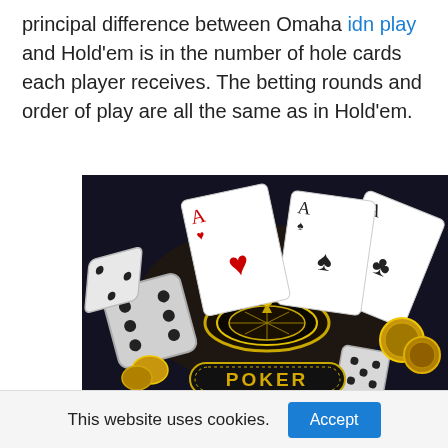principal difference between Omaha idn play and Hold'em is in the number of hole cards each player receives. The betting rounds and order of play are all the same as in Hold'em.
[Figure (photo): Casino themed image on dark background showing playing cards (aces), two dice, a roulette wheel, gold casino chips, and a 'POKER' sign with gold lettering]
This website uses cookies. [Accept button]